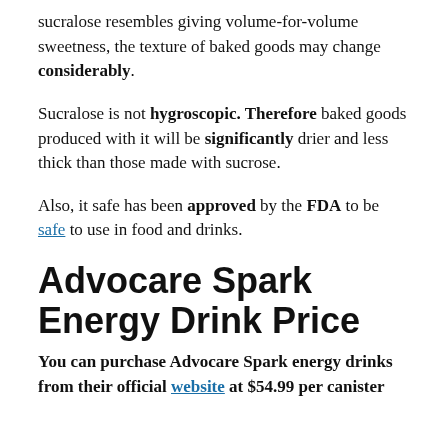sucralose resembles giving volume-for-volume sweetness, the texture of baked goods may change considerably.
Sucralose is not hygroscopic. Therefore baked goods produced with it will be significantly drier and less thick than those made with sucrose.
Also, it safe has been approved by the FDA to be safe to use in food and drinks.
Advocare Spark Energy Drink Price
You can purchase Advocare Spark energy drinks from their official website at $54.99 per canister